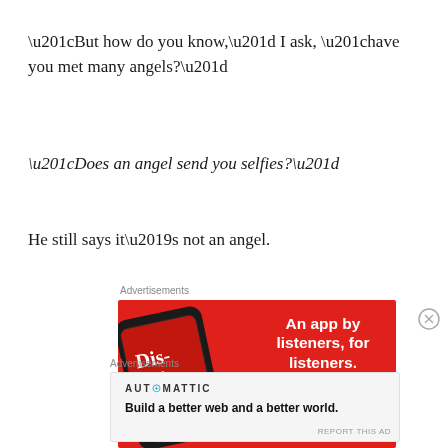“But how do you know,” I ask, “have you met many angels?”
“Does an angel send you selfies?”
He still says it’s not an angel.
Advertisements
[Figure (infographic): Red advertisement banner for a podcast app showing a smartphone with 'Distributed' podcast art, headline 'An app by listeners, for listeners.' and a 'Download now' button.]
Advertisements
[Figure (infographic): Automattic advertisement banner with logo reading 'AUTOMATTIC' and tagline 'Build a better web and a better world.']